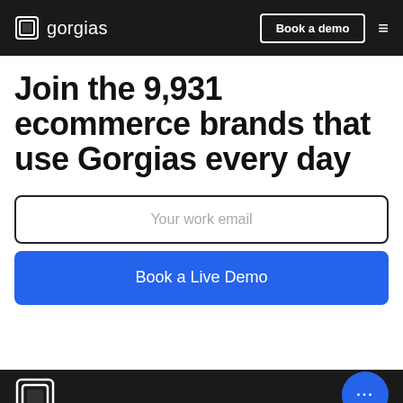gorgias  |  Book a demo  |  ≡
Join the 9,931 ecommerce brands that use Gorgias every day
Your work email
Book a Live Demo
gorgias logo